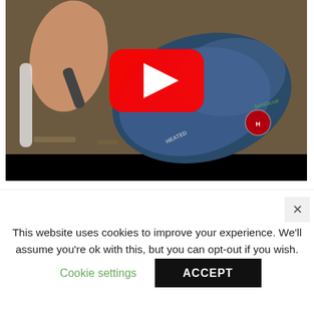[Figure (screenshot): YouTube video thumbnail showing a hand holding a blue Hoover vacuum cleaner on a floor, with a red YouTube play button overlay in the center. Black bar at the bottom of the video player.]
I have freestanding Series 8 dishwasher. Ask a Question Usually answered in minutes! The flow
This website uses cookies to improve your experience. We'll assume you're ok with this, but you can opt-out if you wish.
Cookie settings
ACCEPT